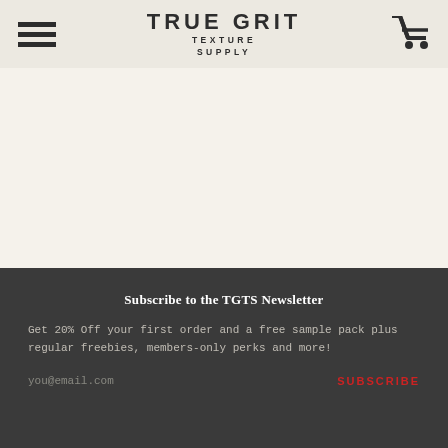TRUE GRIT TEXTURE SUPPLY
[Figure (logo): True Grit Texture Supply logo - bold uppercase text with hamburger menu icon on left and shopping cart icon on right]
Subscribe to the TGTS Newsletter
Get 20% Off your first order and a free sample pack plus regular freebies, members-only perks and more!
you@email.com
SUBSCRIBE